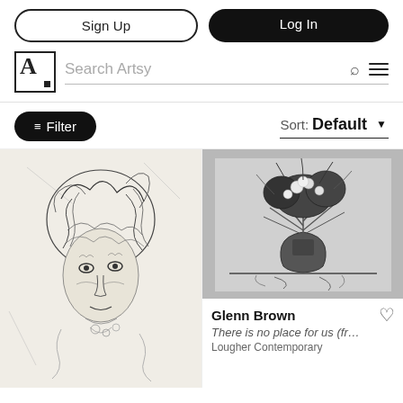Sign Up | Log In | Search Artsy
Filter   Sort: Default
[Figure (illustration): Graphite or charcoal drawing of a face with wild, swirling hair — expressive, densely cross-hatched portrait, left artwork panel]
[Figure (illustration): Black and white print of a flower bouquet in a vase with dramatic, loose strokes — Glenn Brown artwork]
Glenn Brown
There is no place for us (fr…
Lougher Contemporary